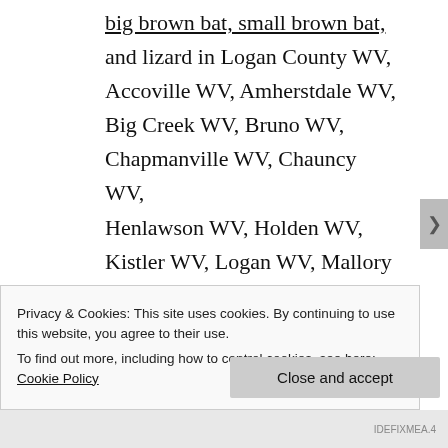big brown bat, small brown bat, and lizard in Logan County WV, Accoville WV, Amherstdale WV, Big Creek WV, Bruno WV, Chapmanville WV, Chauncy WV, Henlawson WV, Holden WV, Kistler WV, Logan WV, Mallory WV, Man WV, McConnell WV, Mitchell Heights WV, Monaville WV, Mount Gay WV, Neibert WV, Omar WV, Robinette WV,
Privacy & Cookies: This site uses cookies. By continuing to use this website, you agree to their use. To find out more, including how to control cookies, see here: Cookie Policy
Close and accept